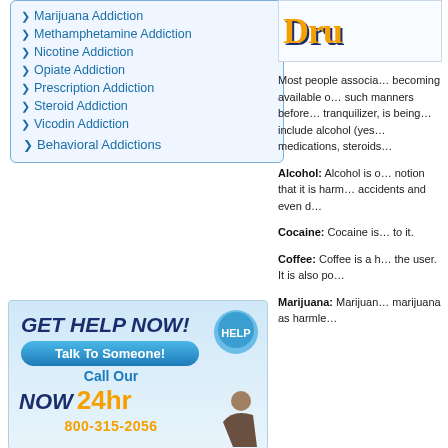Marijuana Addiction | Methamphetamine Addiction | Nicotine Addiction | Opiate Addiction | Prescription Addiction | Steroid Addiction | Vicodin Addiction | Behavioral Addictions
[Figure (infographic): GET HELP NOW! Talk To Someone! Call Our NOW 24hr 800-315-2056 advertisement banner with a help button icon and person silhouette]
[Figure (logo): Partial logo showing 'Dru' in large gold/orange serif font with blue shadow, inside a bordered box]
Most people associa becoming available o such manners before tranquilizer, is being include alcohol (yes medications, steroids
Alcohol: Alcohol is o notion that it is harm accidents and even d
Cocaine: Cocaine is to it.
Coffee: Coffee is a h the user. It is also po
Marijuana: Marijuan marijuana as harmle